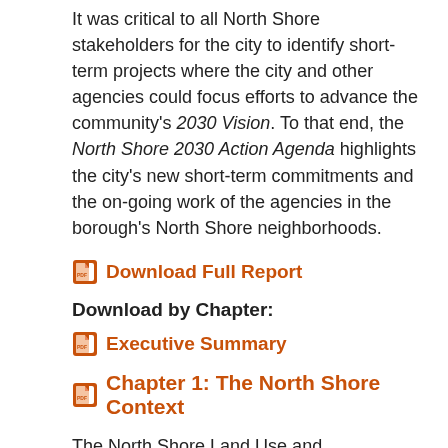It was critical to all North Shore stakeholders for the city to identify short-term projects where the city and other agencies could focus efforts to advance the community's 2030 Vision. To that end, the North Shore 2030 Action Agenda highlights the city's new short-term commitments and the on-going work of the agencies in the borough's North Shore neighborhoods.
Download Full Report
Download by Chapter:
Executive Summary
Chapter 1: The North Shore Context
The North Shore Land Use and Transportation Study was initiated at the request of Mayor Bloomberg's Staten Island Growth Management Task Force as a response to the call for government to coordinate its efforts and comprehensively plan for the future of this five-mile long stretch of working waterfronts and